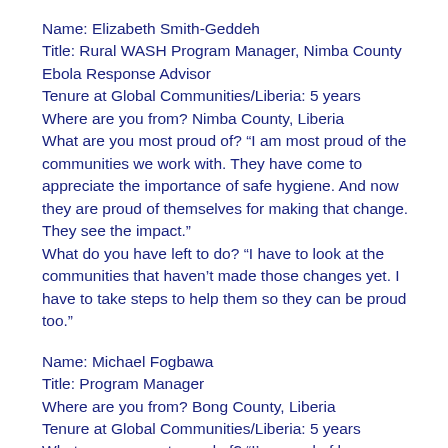Name: Elizabeth Smith-Geddeh
Title: Rural WASH Program Manager, Nimba County
Ebola Response Advisor
Tenure at Global Communities/Liberia: 5 years
Where are you from? Nimba County, Liberia
What are you most proud of? “I am most proud of the communities we work with. They have come to appreciate the importance of safe hygiene. And now they are proud of themselves for making that change. They see the impact.”
What do you have left to do? “I have to look at the communities that haven’t made those changes yet. I have to take steps to help them so they can be proud too.”
Name: Michael Fogbawa
Title: Program Manager
Where are you from? Bong County, Liberia
Tenure at Global Communities/Liberia: 5 years
What are you most proud of? “I’m proud of how we effectively moved our work from Bong to Gbarpolu